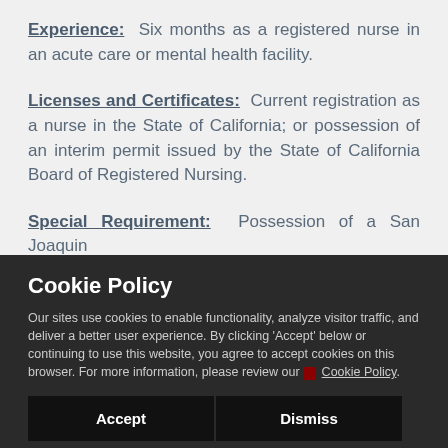Experience: Six months as a registered nurse in an acute care or mental health facility.
Licenses and Certificates: Current registration as a nurse in the State of California; or possession of an interim permit issued by the State of California Board of Registered Nursing.
Special Requirement: Possession of a San Joaquin
Cookie Policy
Our sites use cookies to enable functionality, analyze visitor traffic, and deliver a better user experience. By clicking 'Accept' below or continuing to use this website, you agree to accept cookies on this browser. For more information, please review our Cookie Policy.
Accept   Dismiss